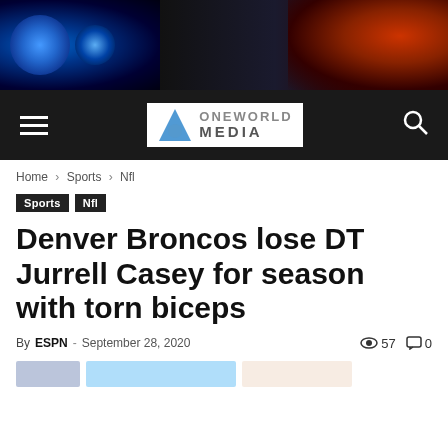[Figure (photo): Website banner with a blue eye/globe on the left and an Iron Man/red armor figure on the right, dark background]
OneWorld Media navigation bar with hamburger menu, logo, and search icon
Home › Sports › Nfl
Sports  Nfl
Denver Broncos lose DT Jurrell Casey for season with torn biceps
By ESPN - September 28, 2020  👁 57  💬 0
[Figure (illustration): Social share buttons row (partially visible)]